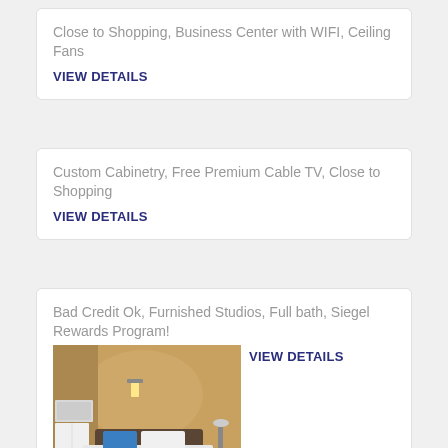Close to Shopping, Business Center with WIFI, Ceiling Fans
VIEW DETAILS
Custom Cabinetry, Free Premium Cable TV, Close to Shopping
VIEW DETAILS
Bad Credit Ok, Furnished Studios, Full bath, Siegel Rewards Program!
VIEW DETAILS
[Figure (photo): Hotel room interior showing a bed with blue pillow, white bedding, dark headboard, nightstand with lamp, and kitchen appliances (refrigerator, microwave) visible on the left. Warm brown/tan wall in background.]